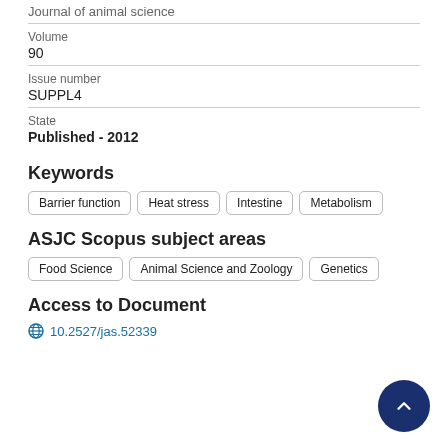Journal of animal science
Volume
90
Issue number
SUPPL4
State
Published - 2012
Keywords
Barrier function
Heat stress
Intestine
Metabolism
ASJC Scopus subject areas
Food Science
Animal Science and Zoology
Genetics
Access to Document
10.2527/jas.52339